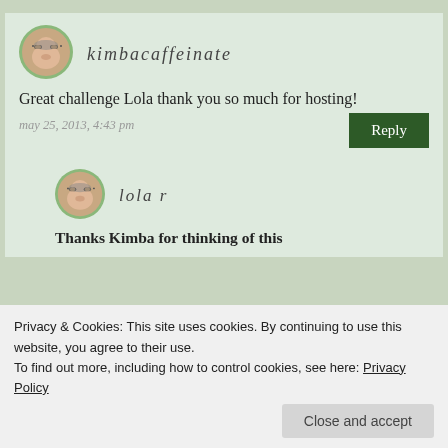[Figure (photo): Avatar icon of kimbacaffeinate - cartoon face with glasses]
kimbacaffeinate
Great challenge Lola thank you so much for hosting!
may 25, 2013, 4:43 pm
[Figure (photo): Avatar icon of lola r - cartoon face with glasses]
lola r
Thanks Kimba for thinking of this
Privacy & Cookies: This site uses cookies. By continuing to use this website, you agree to their use.
To find out more, including how to control cookies, see here: Privacy Policy